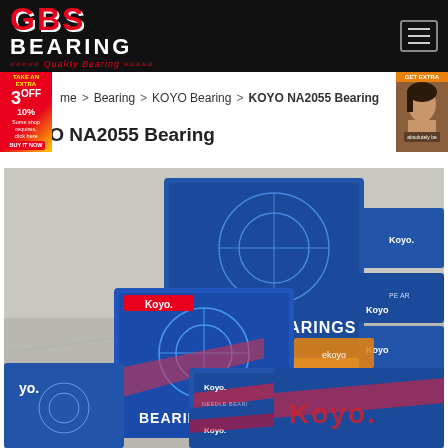GBS BEARING - Quality Bearing
Home > Bearing > KOYO Bearing > KOYO NA2055 Bearing
KOYO NA2055 Bearing
[Figure (photo): Photo of multiple Koyo branded bearing boxes stacked on a floor, showing blue and red packaging with BEARINGS text and Koyo logo]